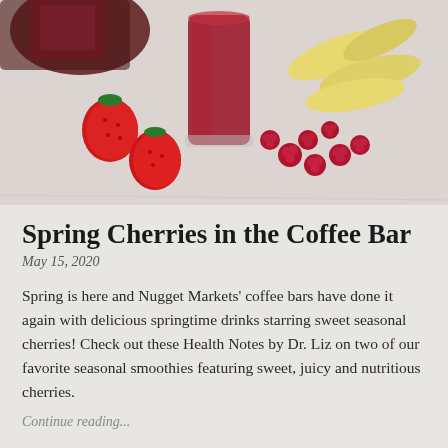[Figure (photo): A smoothie drink in a glass surrounded by fresh strawberries, raspberries, banana slices, and beet pieces on a white marble surface]
Spring Cherries in the Coffee Bar
May 15, 2020
Spring is here and Nugget Markets' coffee bars have done it again with delicious springtime drinks starring sweet seasonal cherries! Check out these Health Notes by Dr. Liz on two of our favorite seasonal smoothies featuring sweet, juicy and nutritious cherries.
Continue reading...